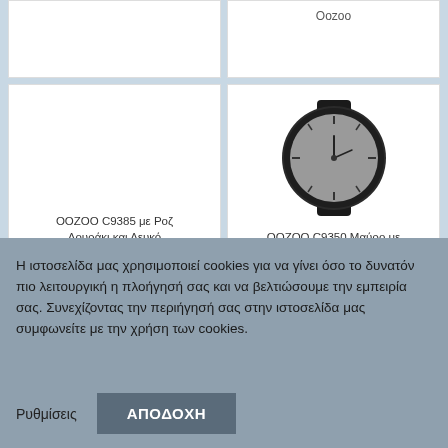Oozoo
[Figure (photo): A round minimalist watch with dark gray face and black leather strap - OOZOO C9350]
OOZOO C9385 με Ροζ Λουράκι και Λευκό Καντράν
OOZOO C9350 Μαύρο με Μαύρο Λουράκι
Η ιστοσελίδα μας χρησιμοποιεί cookies για να γίνει όσο το δυνατόν πιο λειτουργική η πλοήγησή σας και να βελτιώσουμε την εμπειρία σας. Συνεχίζοντας την περιήγησή σας στην ιστοσελίδα μας συμφωνείτε με την χρήση των cookies.
Ρυθμίσεις
ΑΠΟΔΟΧΗ